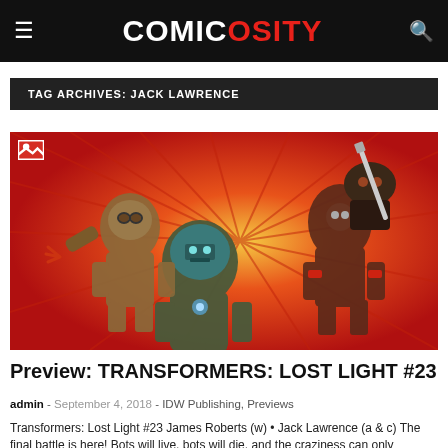COMICOSITY
TAG ARCHIVES: JACK LAWRENCE
[Figure (illustration): Comic book cover art showing Transformers robot characters in action poses against a red/orange explosive background. Characters include robotic figures in battle stances.]
Preview: TRANSFORMERS: LOST LIGHT #23
admin - September 4, 2018 - IDW Publishing, Previews
Transformers: Lost Light #23 James Roberts (w) • Jack Lawrence (a & c) The final battle is here! Bots will live, bots will die, and the craziness can only